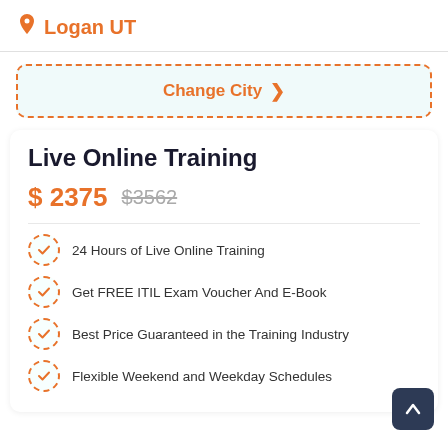Logan UT
Change City >
Live Online Training
$ 2375  $3562
24 Hours of Live Online Training
Get FREE ITIL Exam Voucher And E-Book
Best Price Guaranteed in the Training Industry
Flexible Weekend and Weekday Schedules